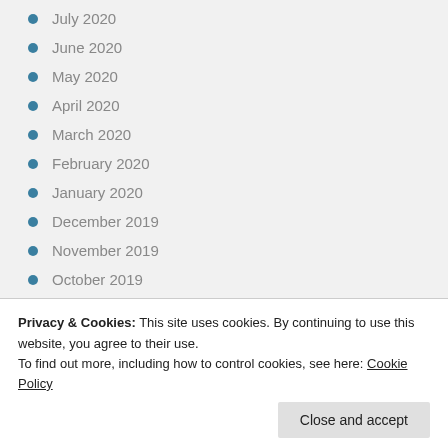July 2020
June 2020
May 2020
April 2020
March 2020
February 2020
January 2020
December 2019
November 2019
October 2019
September 2019
August 2019
July 2019
Privacy & Cookies: This site uses cookies. By continuing to use this website, you agree to their use.
To find out more, including how to control cookies, see here: Cookie Policy
February 2019